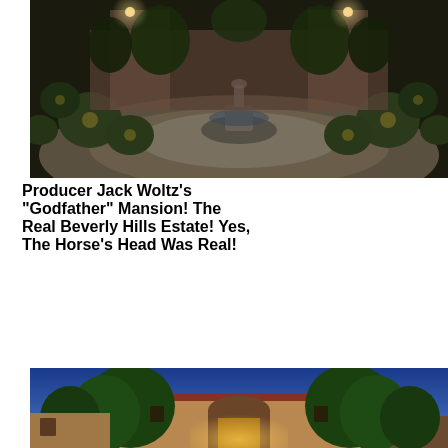[Figure (photo): Nighttime exterior photo of a Beverly Hills estate courtyard with a circular driveway, central fountain with sculpture, manicured hedges and topiary, and warm landscape lighting.]
Producer Jack Woltz’s “Godfather” Mansion! The Real Beverly Hills Estate! Yes, The Horse’s Head Was Real!
[Figure (photo): Twilight exterior photo of a Spanish-style Beverly Hills mansion with red tile roof, arched entryway with lights, lush green trees in foreground, and deep blue evening sky.]